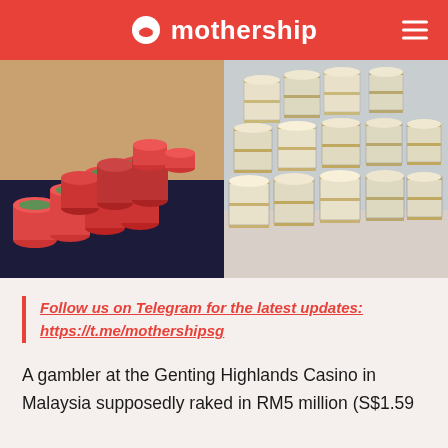mothership
[Figure (photo): Left: Stacks of red casino chips on a gaming table. Right: Bundles of Malaysian Ringgit banknotes stacked on a surface.]
Follow us on Telegram for the latest updates: https://t.me/mothershipsg
A gambler at the Genting Highlands Casino in Malaysia supposedly raked in RM5 million (S$1.59